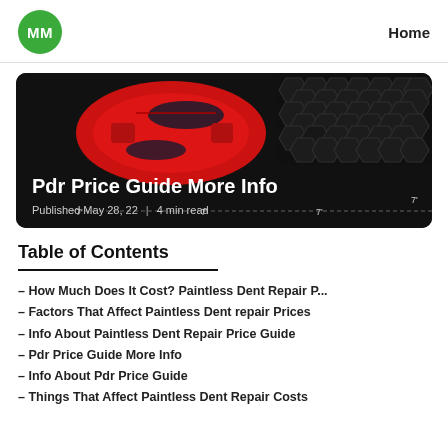[Figure (logo): Green circle logo with white text MM]
Home
[Figure (photo): Overhead view of a red sports car on a dark honeycomb background with measurement overlays. Title: Pdr Price Guide More Info. Published May 28, 22 | 4 min read]
Table of Contents
– How Much Does It Cost? Paintless Dent Repair P...
– Factors That Affect Paintless Dent repair Prices
– Info About Paintless Dent Repair Price Guide
– Pdr Price Guide More Info
– Info About Pdr Price Guide
– Things That Affect Paintless Dent Repair Costs